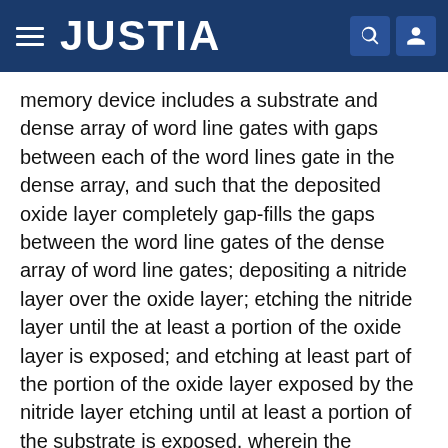JUSTIA
memory device includes a substrate and dense array of word line gates with gaps between each of the word lines gate in the dense array, and such that the deposited oxide layer completely gap-fills the gaps between the word line gates of the dense array of word line gates; depositing a nitride layer over the oxide layer; etching the nitride layer until the at least a portion of the oxide layer is exposed; and etching at least part of the portion of the oxide layer exposed by the nitride layer etching until at least a portion of the substrate is exposed, wherein the periphery section includes a plurality of periphery gates, and wherein the at least oxide-nitride spacer includes a plurality of oxide-nitride spacers, including two oxide-nitride spacers for each periphery gate; and